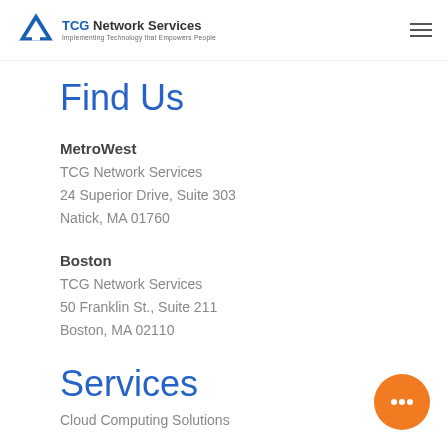TCG Network Services — Implementing Technology that Empowers People
Find Us
MetroWest
TCG Network Services
24 Superior Drive, Suite 303
Natick, MA 01760
Boston
TCG Network Services
50 Franklin St., Suite 211
Boston, MA 02110
Services
Cloud Computing Solutions
[Figure (illustration): Orange circular chat button with three dots]